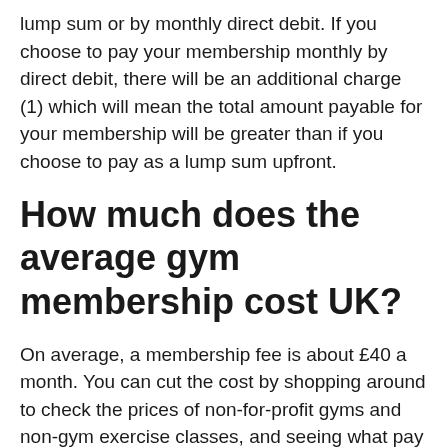lump sum or by monthly direct debit. If you choose to pay your membership monthly by direct debit, there will be an additional charge (1) which will mean the total amount payable for your membership will be greater than if you choose to pay as a lump sum upfront.
How much does the average gym membership cost UK?
On average, a membership fee is about £40 a month. You can cut the cost by shopping around to check the prices of non-for-profit gyms and non-gym exercise classes, and seeing what pay as you go contract-free options are available.